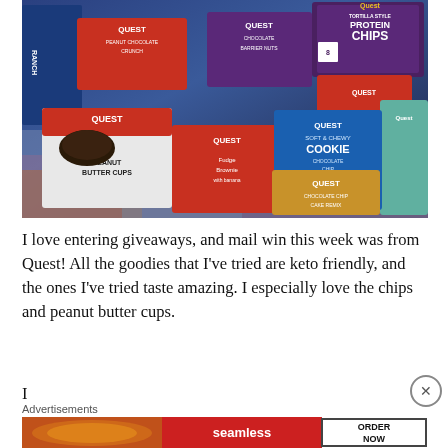[Figure (photo): Photo of multiple Quest brand product boxes and packages spread out on a colorful blanket/fabric surface, including Quest Protein Chips (tortilla style, ranch flavor), Quest Peanut Butter Cups, Quest Fudge Brownie, Quest Cookie (chocolate chip), Quest Chocolate Cake Remix, Quest Peanut Chocolate Crunch, Quest Chocolate Barrier Nuts, and other Quest products.]
I love entering giveaways, and mail win this week was from Quest! All the goodies that I've tried are keto friendly, and the ones I've tried taste amazing. I especially love the chips and peanut butter cups.
I... (partial text, cut off by advertisement)
Advertisements
[Figure (screenshot): Advertisement banner for Seamless food delivery service showing a pizza image on the left, the Seamless logo in the center, and an 'ORDER NOW' button on the right with a dark bordered box.]